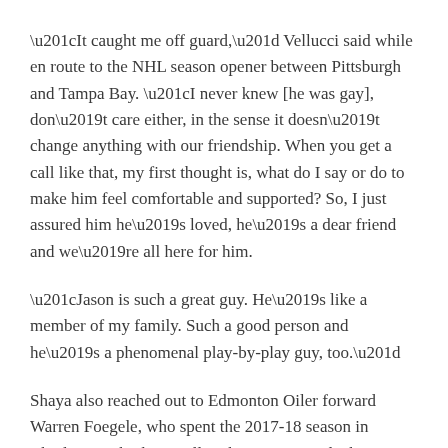“It caught me off guard,” Vellucci said while en route to the NHL season opener between Pittsburgh and Tampa Bay. “I never knew [he was gay], don’t care either, in the sense it doesn’t change anything with our friendship. When you get a call like that, my first thought is, what do I say or do to make him feel comfortable and supported? So, I just assured him he’s loved, he’s a dear friend and we’re all here for him.
“Jason is such a great guy. He’s like a member of my family. Such a good person and he’s a phenomenal play-by-play guy, too.”
Shaya also reached out to Edmonton Oiler forward Warren Foegele, who spent the 2017-18 season in Charlotte with Shaya calling his games. And when Foegele was called up